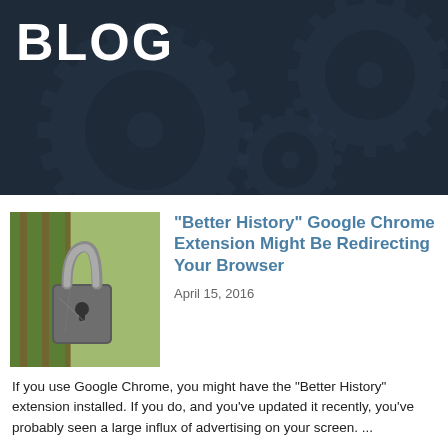BLOG
[Figure (illustration): Dark navy banner with gear/cog illustrations in the background, decorative mechanical design]
[Figure (photo): Photo of a metal padlock on a fence, with blurred green background]
“Better History” Google Chrome Extension Might Be Redirecting Your Browser
April 15, 2016
If you use Google Chrome, you might have the “Better History” extension installed. If you do, and you’ve updated it recently, you’ve probably seen a large influx of advertising on your screen. ...